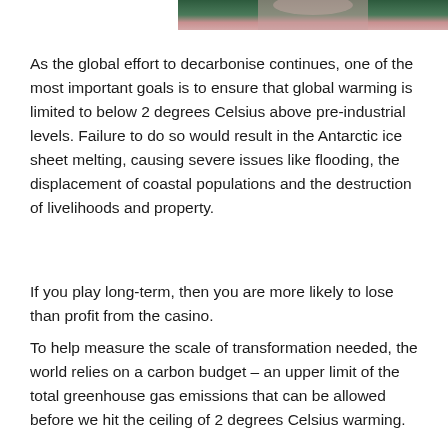[Figure (photo): Partial photo strip at top of page showing a person, cropped to a narrow horizontal band with green and skin-tone colors visible]
As the global effort to decarbonise continues, one of the most important goals is to ensure that global warming is limited to below 2 degrees Celsius above pre-industrial levels. Failure to do so would result in the Antarctic ice sheet melting, causing severe issues like flooding, the displacement of coastal populations and the destruction of livelihoods and property.
If you play long-term, then you are more likely to lose than profit from the casino.
To help measure the scale of transformation needed, the world relies on a carbon budget – an upper limit of the total greenhouse gas emissions that can be allowed before we hit the ceiling of 2 degrees Celsius warming.